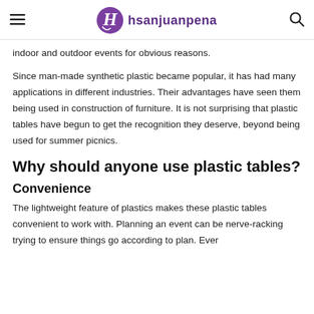hsanjuanpena
indoor and outdoor events for obvious reasons.
Since man-made synthetic plastic became popular, it has had many applications in different industries. Their advantages have seen them being used in construction of furniture. It is not surprising that plastic tables have begun to get the recognition they deserve, beyond being used for summer picnics.
Why should anyone use plastic tables?
Convenience
The lightweight feature of plastics makes these plastic tables convenient to work with. Planning an event can be nerve-racking trying to ensure things go according to plan. Ever